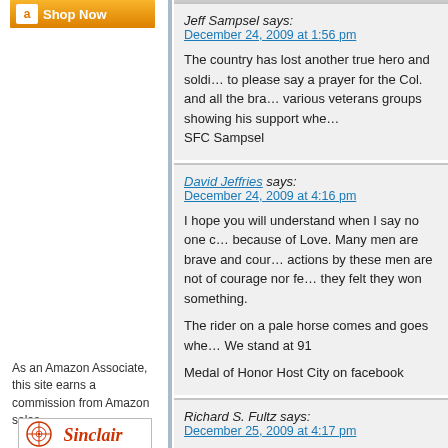[Figure (screenshot): Amazon Shop Now banner with orange background]
As an Amazon Associate, this site earns a commission from Amazon sales.
[Figure (logo): Sinclair logo in red/orange]
Jeff Sampsel says: December 24, 2009 at 1:56 pm
The country has lost another true hero and soldi... to please say a prayer for the Col. and all the bra... various veterans groups showing his support whe... SFC Sampsel
David Jeffries says: December 24, 2009 at 4:16 pm
I hope you will understand when I say no one c... because of Love. Many men are brave and cour... actions by these men are not of courage nor fe... they felt they won something.

The rider on a pale horse comes and goes whe... We stand at 91

Medal of Honor Host City on facebook
Richard S. Fultz says: December 25, 2009 at 4:17 pm